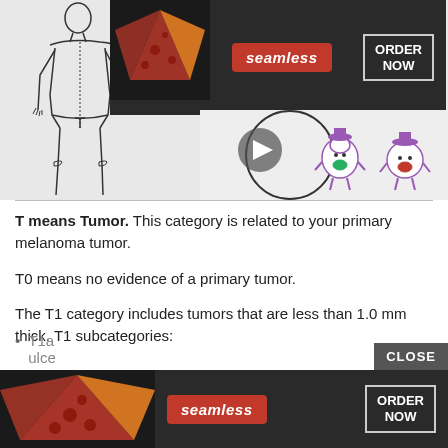[Figure (screenshot): Screenshot of a webpage showing a medical page about melanoma TNM staging with two Seamless food delivery advertisement banners overlaid. The top banner shows pizza images on dark background with Seamless red logo and ORDER NOW button. A circular area shows cartoon candy characters with a play button overlay. A body outline illustration is on the left. A CLOSE button appears on the lower ad. Bottom shows another Seamless ad partially overlapping a list item.]
T means Tumor. This category is related to your primary melanoma tumor.
T0 means no evidence of a primary tumor.
The T1 category includes tumors that are less than 1.0 mm thick. T1 subcategories:
T1a ... ulce...